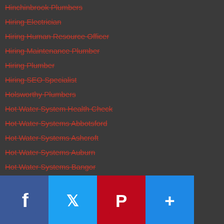Hinchinbrook Plumbers
Hiring Electrician
Hiring Human Resource Officer
Hiring Maintenance Plumber
Hiring Plumber
Hiring SEO Specialist
Holsworthy Plumbers
Hot Water System Health Check
Hot Water Systems Abbotsford
Hot Water Systems Ashcroft
Hot Water Systems Auburn
Hot Water Systems Bangor
Hot Water Systems Bankstown
Hot Water Systems Bankstown
Hot Water Systems Belmore
Hot Water Systems Berambing
Hot Water Systems Bligh Park
Hot Water Systems Bonnet Bay
Hot Water Systems Botany Park